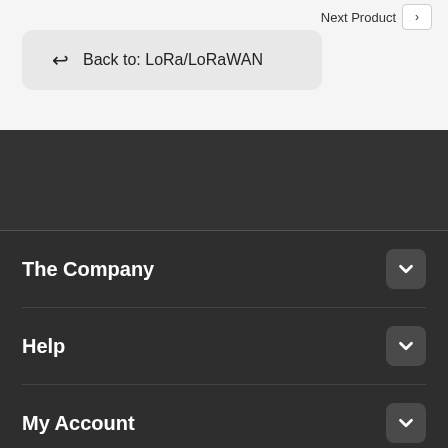Next Product ›
Back to: LoRa/LoRaWAN
The Company
Help
My Account
Copyright © 2022 nettop.gr. All Rights Reserved.